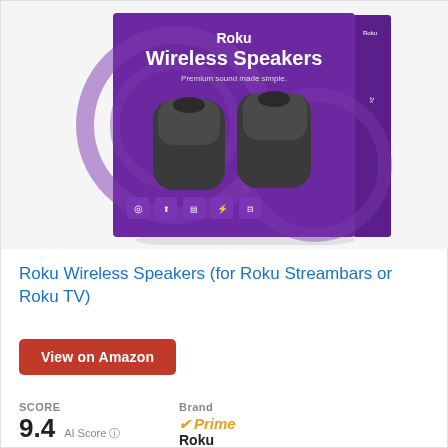[Figure (photo): Roku Wireless Speakers product box — purple box with two dark gray cylindrical speakers, Roku logo and text 'Wireless Speakers, Premium sound made simple.' with icons at the bottom]
Roku Wireless Speakers (for Roku Streambars or Roku TV)
View on Amazon
SCORE  9.4  AI Score  Brand  ✔Prime  Roku